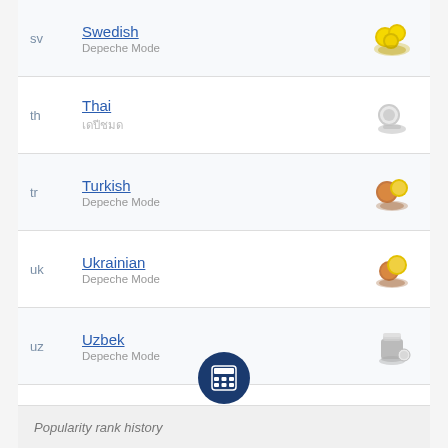sv — Swedish — Depeche Mode
th — Thai — เดปีชมด
tr — Turkish — Depeche Mode
uk — Ukrainian — Depeche Mode
uz — Uzbek — Depeche Mode
vi — Vietnamese — Depeche Mode
zh — Chinese — 维基百科
[Figure (other): Calculator icon button, dark navy blue circle with white grid/calculator symbol]
Popularity rank history